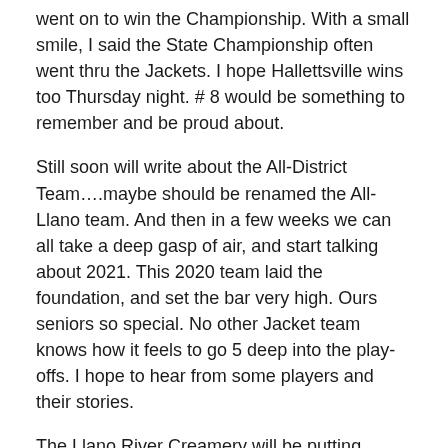went on to win the Championship.  With a small smile,  I said the State Championship often went thru the Jackets.  I hope Hallettsville wins too Thursday night.  # 8 would be something to remember and be proud about.
Still soon will write about the All-District Team....maybe should be renamed the All- Llano team.  And then in a few weeks we can all take a deep gasp of air, and start talking about 2021.  This 2020 team laid the foundation, and set the bar very high.  Ours seniors so special.  No other Jacket team knows how it feels to go 5 deep into the play-offs.  I hope to hear from some players and their stories.
The Llano River Creamery will be putting together a tribute to the 2020 team, with pictures of the seniors.  Looking for pictures, if anyone has ones to share.